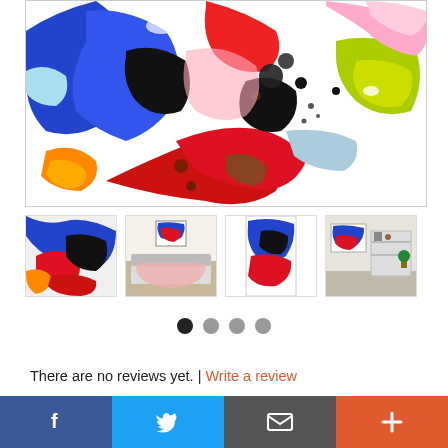[Figure (photo): Main abstract fluid acrylic painting with swirling red, blue, white, black, yellow, orange, green and pink colors on white background]
[Figure (photo): Thumbnail 1: close-up of abstract painting]
[Figure (photo): Thumbnail 2: abstract painting in bedroom setting]
[Figure (photo): Thumbnail 3: cropped vertical detail of painting]
[Figure (photo): Thumbnail 4: abstract painting in room with shelving]
There are no reviews yet. | Write a review
[Figure (other): Social sharing bar with Facebook, Twitter, email, and plus buttons]